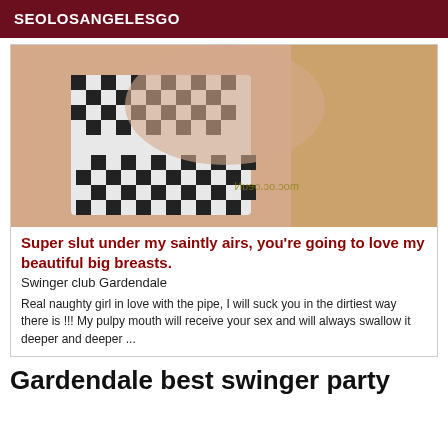SEOLOSANGELESGO
[Figure (photo): Close-up photo of a woman in a black and white checkered bikini top, with watermark text visible]
Super slut under my saintly airs, you’re going to love my beautiful big breasts.
Swinger club Gardendale
Real naughty girl in love with the pipe, I will suck you in the dirtiest way there is !!! My pulpy mouth will receive your sex and will always swallow it deeper and deeper ...
Gardendale best swinger party